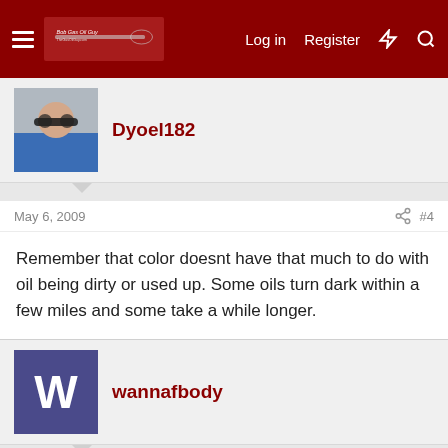Log in  Register
Dyoel182
May 6, 2009  #4
Remember that color doesnt have that much to do with oil being dirty or used up. Some oils turn dark within a few miles and some take a while longer.
wannafbody
May 6, 2009  #5
GC may have been doing some cleaning of the engine as well. I'm currently on year 3 with my Amsoil EAO oil filter on my LS1.
Last edited: May 6, 2009